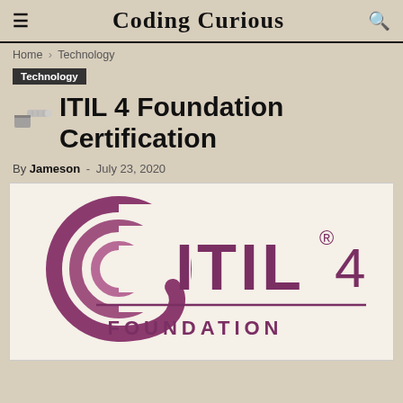Coding Curious
Home › Technology
Technology
ITIL 4 Foundation Certification
By Jameson - July 23, 2020
[Figure (logo): ITIL 4 Foundation logo with stylized purple spiral symbol and ITIL®4 FOUNDATION text]